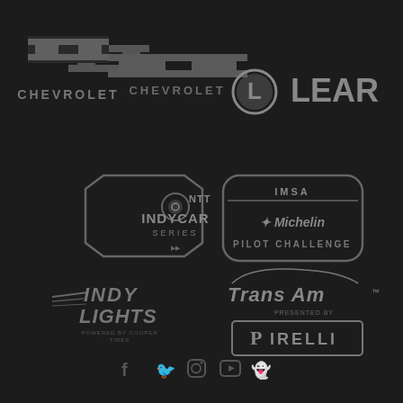[Figure (logo): Chevrolet bowtie logo with CHEVROLET text below, dark gray on dark background]
[Figure (logo): Lear corporation logo with L circle icon and LEAR text, gray on dark background]
[Figure (logo): NTT IndyCar Series badge logo, gray on dark background]
[Figure (logo): IMSA Michelin Pilot Challenge logo, gray rounded rectangle badge]
[Figure (logo): Indy Lights Powered by Cooper Tires logo, gray on dark background]
[Figure (logo): Trans Am presented by Pirelli logo, two logos stacked, gray on dark background]
[Figure (illustration): Social media icons row: Facebook, Twitter, Instagram, YouTube, Snapchat — gray on dark background]